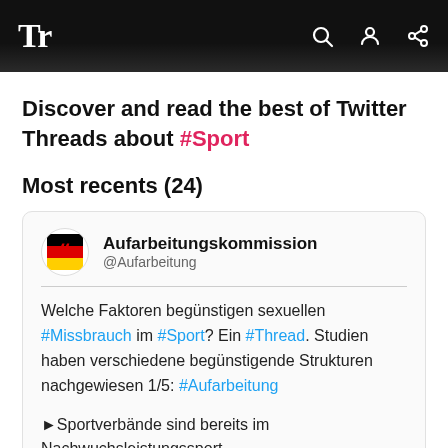Tr
Discover and read the best of Twitter Threads about #Sport
Most recents (24)
Aufarbeitungskommission @Aufarbeitung
Welche Faktoren begünstigen sexuellen #Missbrauch im #Sport? Ein #Thread. Studien haben verschiedene begünstigende Strukturen nachgewiesen 1/5: #Aufarbeitung
►Sportverbände sind bereits im Nachwuchsleistungssport